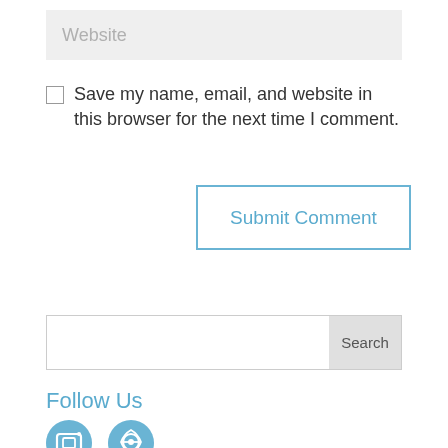Website
Save my name, email, and website in this browser for the next time I comment.
Submit Comment
Search
Follow Us